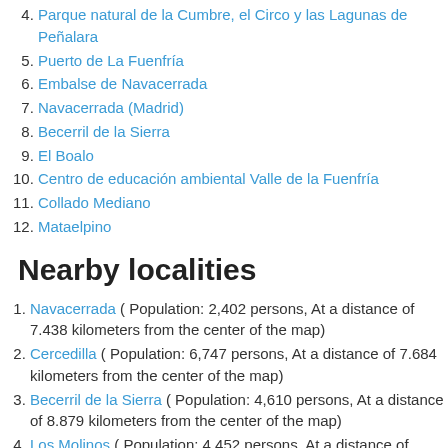4. Parque natural de la Cumbre, el Circo y las Lagunas de Peñalara
5. Puerto de La Fuenfría
6. Embalse de Navacerrada
7. Navacerrada (Madrid)
8. Becerril de la Sierra
9. El Boalo
10. Centro de educación ambiental Valle de la Fuenfría
11. Collado Mediano
12. Mataelpino
Nearby localities
1. Navacerrada ( Population: 2,402 persons, At a distance of 7.438 kilometers from the center of the map)
2. Cercedilla ( Population: 6,747 persons, At a distance of 7.684 kilometers from the center of the map)
3. Becerril de la Sierra ( Population: 4,610 persons, At a distance of 8.879 kilometers from the center of the map)
4. Los Molinos ( Population: 4,452 persons, At a distance of 11.100 kilometers from the center of the map)
5. Collado Mediano ( Population: 5,973 persons, At a distance of...